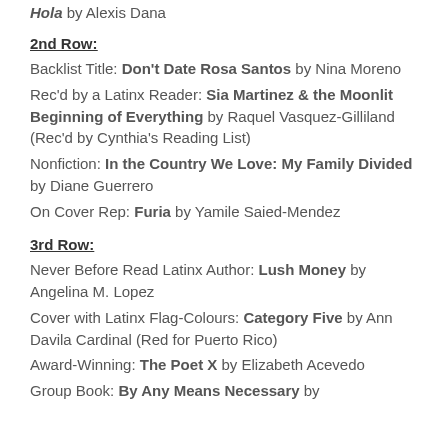Hola by Alexis Dana
2nd Row:
Backlist Title: Don't Date Rosa Santos by Nina Moreno
Rec'd by a Latinx Reader: Sia Martinez & the Moonlit Beginning of Everything by Raquel Vasquez-Gilliland (Rec'd by Cynthia's Reading List)
Nonfiction: In the Country We Love: My Family Divided by Diane Guerrero
On Cover Rep: Furia by Yamile Saied-Mendez
3rd Row:
Never Before Read Latinx Author: Lush Money by Angelina M. Lopez
Cover with Latinx Flag-Colours: Category Five by Ann Davila Cardinal (Red for Puerto Rico)
Award-Winning: The Poet X by Elizabeth Acevedo
Group Book: By Any Means Necessary by